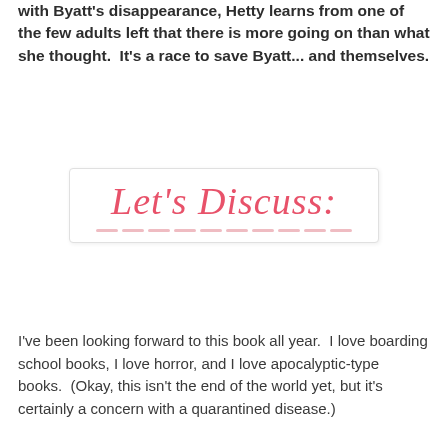with Byatt's disappearance, Hetty learns from one of the few adults left that there is more going on than what she thought.  It's a race to save Byatt... and themselves.
[Figure (illustration): Decorative box with script text 'Let's Discuss:' in pink/coral italic font, with a row of dashed pink lines underneath, inside a light-bordered rectangle.]
I've been looking forward to this book all year.  I love boarding school books, I love horror, and I love apocalyptic-type books.  (Okay, this isn't the end of the world yet, but it's certainly a concern with a quarantined disease.)